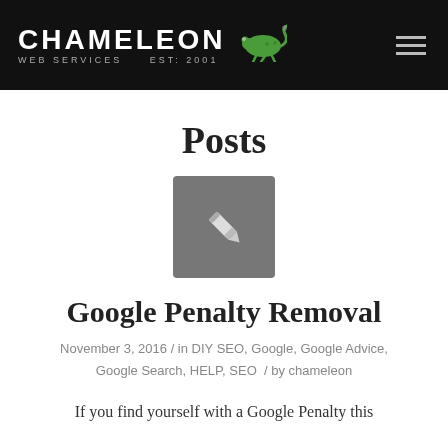CHAMELEON WEB SERVICES EST: 2001
Posts
[Figure (illustration): Gray square box with a white pencil/edit icon in the center]
Google Penalty Removal
November 3, 2016 / in DIY SEO, Google, Google Advice, Google Search, HELP, SEO / by chameleon
If you find yourself with a Google Penalty this